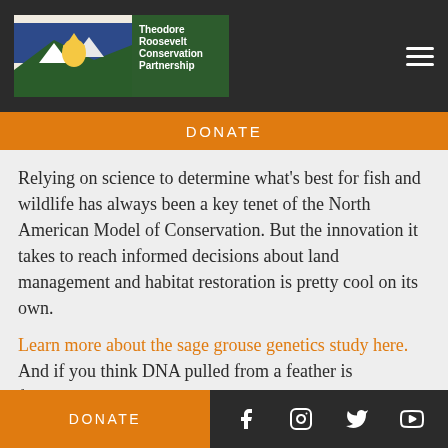Theodore Roosevelt Conservation Partnership
DONATE
Relying on science to determine what’s best for fish and wildlife has always been a key tenet of the North American Model of Conservation. But the innovation it takes to reach informed decisions about land management and habitat restoration is pretty cool on its own.
Learn more about the sage grouse genetics study here. And if you think DNA pulled from a feather is fascinating, check out this mule deer migration study, where big game animals are literally sending their GPS coordinates to researchers’ smartphones.
DONATE